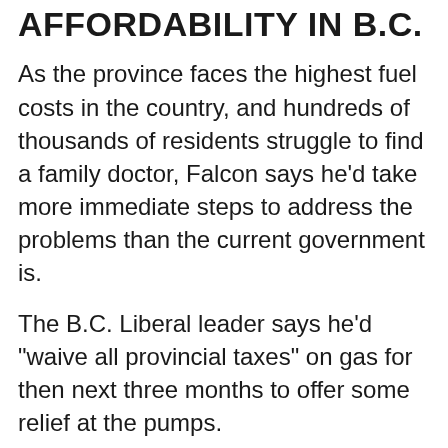AFFORDABILITY IN B.C.
As the province faces the highest fuel costs in the country, and hundreds of thousands of residents struggle to find a family doctor, Falcon says he'd take more immediate steps to address the problems than the current government is.
The B.C. Liberal leader says he'd "waive all provincial taxes" on gas for then next three months to offer some relief at the pumps.
"That would result in a typical minivan fill up being $36 less than it is today," he said.
Falcon says he'd also streamline doctor certification for physicians who are trained outside of Canada, and change the model for